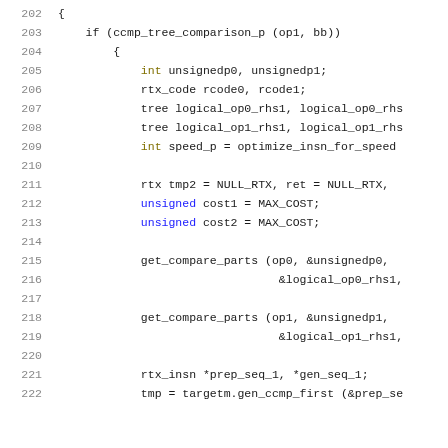[Figure (screenshot): Source code listing showing lines 202-222 of a C/C++ file with syntax highlighting. The code shows a code block with if statement checking ccmp_tree_comparison_p, variable declarations, and function calls to get_compare_parts and targetm.gen_ccmp_first.]